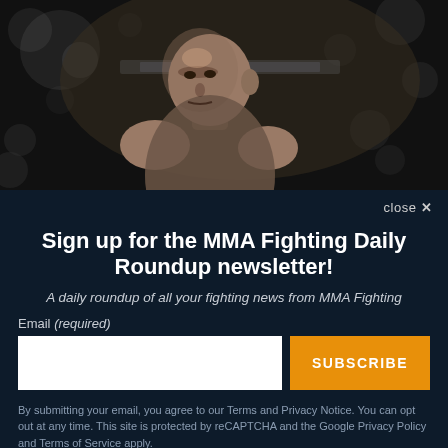[Figure (photo): MMA fighter in a dark arena, close-up upper body shot, bokeh background with octagon cage visible]
close ✕
Sign up for the MMA Fighting Daily Roundup newsletter!
A daily roundup of all your fighting news from MMA Fighting
Email (required)
SUBSCRIBE
By submitting your email, you agree to our Terms and Privacy Notice. You can opt out at any time. This site is protected by reCAPTCHA and the Google Privacy Policy and Terms of Service apply.